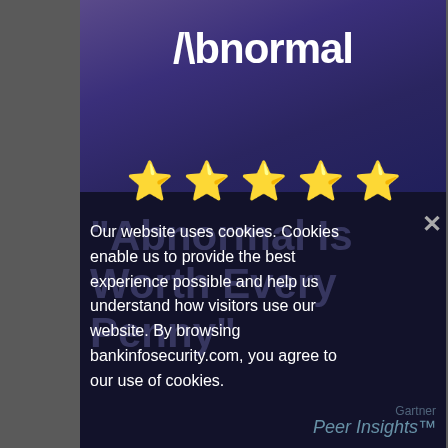[Figure (logo): Abnormal Security logo — white text on dark purple gradient background, showing '/\bnormal' stylized wordmark]
[Figure (infographic): Five gold star rating row]
Our website uses cookies. Cookies enable us to provide the best experience possible and help us understand how visitors use our website. By browsing bankinfosecurity.com, you agree to our use of cookies.
"Abnormal Is Worth Every Penny"
Gartner Peer Insights™